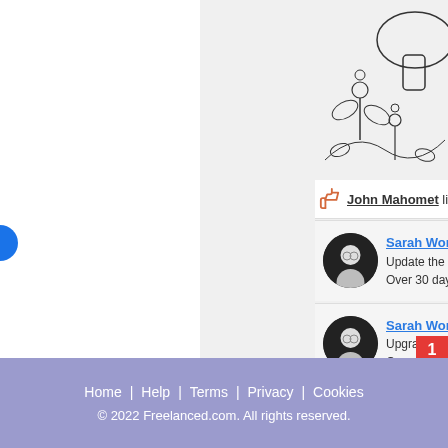[Figure (illustration): Partial illustration of a whimsical line drawing featuring mushrooms, flowers, and plants on a light gray background]
John Mahomet likes this
Sarah Woronchak - Modified
Update the following profile
Over 30 days ago - Like
Sarah Woronchak - Modified
Upgraded to a Basic member
Over 30 days ago - Like
Home | Help | Terms | Privacy | Cookies
© 2022 Freelanced.com.  All rights reserved.